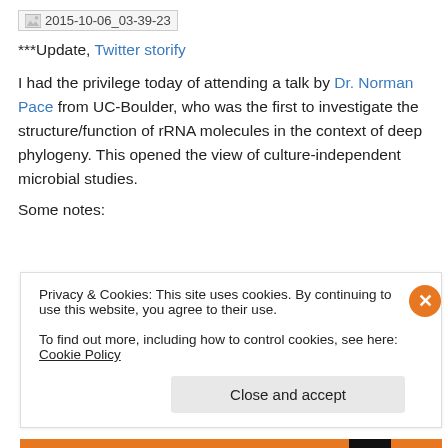[Figure (other): Broken image placeholder labeled '2015-10-06_03-39-23']
***Update, Twitter storify
I had the privilege today of attending a talk by Dr. Norman Pace from UC-Boulder, who was the first to investigate the structure/function of rRNA molecules in the context of deep phylogeny. This opened the view of culture-independent microbial studies.
Some notes:
Privacy & Cookies: This site uses cookies. By continuing to use this website, you agree to their use.
To find out more, including how to control cookies, see here: Cookie Policy